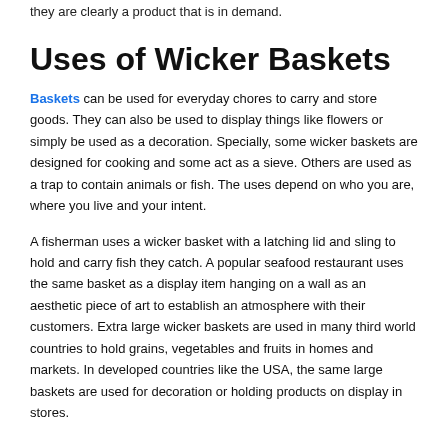they are clearly a product that is in demand.
Uses of Wicker Baskets
Baskets can be used for everyday chores to carry and store goods. They can also be used to display things like flowers or simply be used as a decoration. Specially, some wicker baskets are designed for cooking and some act as a sieve. Others are used as a trap to contain animals or fish. The uses depend on who you are, where you live and your intent.
A fisherman uses a wicker basket with a latching lid and sling to hold and carry fish they catch. A popular seafood restaurant uses the same basket as a display item hanging on a wall as an aesthetic piece of art to establish an atmosphere with their customers. Extra large wicker baskets are used in many third world countries to hold grains, vegetables and fruits in homes and markets. In developed countries like the USA, the same large baskets are used for decoration or holding products on display in stores.